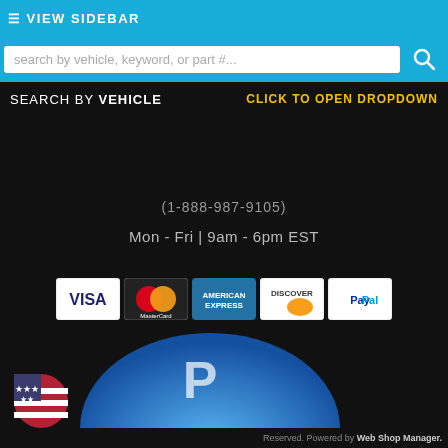≡ VIEW SIDEBAR
search by vehicle, keyword, or part #...
SEARCH BY VEHICLE   CLICK TO OPEN DROPDOWN
(1-888-987-9105)
Mon - Fri | 9am - 6pm EST
[Figure (infographic): Payment method logos: VISA, MasterCard, American Express, Discover, PayPal]
[Figure (logo): Authorize.Net Verified Merchant seal badge]
[Figure (logo): WSM SSL Comodo Secure Site badge]
[Figure (logo): Large blue dome PayPal button and US flag icon]
Reserved. Powered by Web Shop Manager.